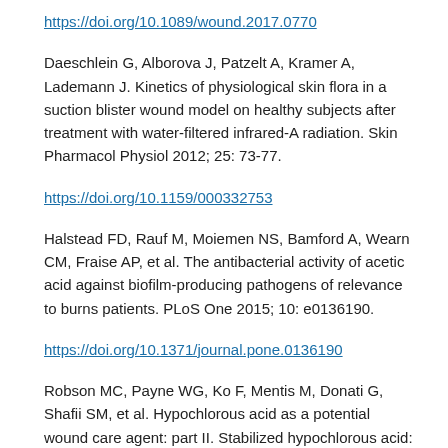https://doi.org/10.1089/wound.2017.0770
Daeschlein G, Alborova J, Patzelt A, Kramer A, Lademann J. Kinetics of physiological skin flora in a suction blister wound model on healthy subjects after treatment with water-filtered infrared-A radiation. Skin Pharmacol Physiol 2012; 25: 73-77.
https://doi.org/10.1159/000332753
Halstead FD, Rauf M, Moiemen NS, Bamford A, Wearn CM, Fraise AP, et al. The antibacterial activity of acetic acid against biofilm-producing pathogens of relevance to burns patients. PLoS One 2015; 10: e0136190.
https://doi.org/10.1371/journal.pone.0136190
Robson MC, Payne WG, Ko F, Mentis M, Donati G, Shafii SM, et al. Hypochlorous acid as a potential wound care agent: part II. Stabilized hypochlorous acid: its role in decreasing tissue bacterial